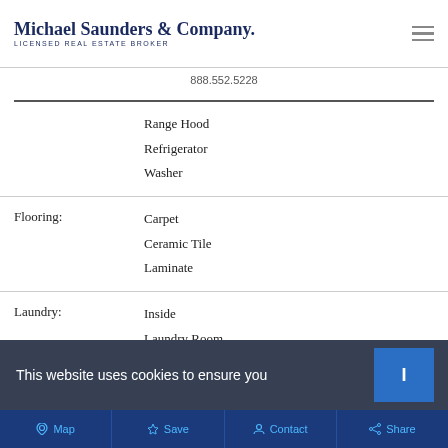Michael Saunders & Company. LICENSED REAL ESTATE BROKER
888.552.5228
|  |  |
| --- | --- |
|  | Range Hood
Refrigerator
Washer |
| Flooring: | Carpet
Ceramic Tile
Laminate |
| Laundry: | Inside
Laundry Room
Upper Level |
| Other: | Eat-in Kitchen |
This website uses cookies to ensure you
Map  Save  Contact  Share